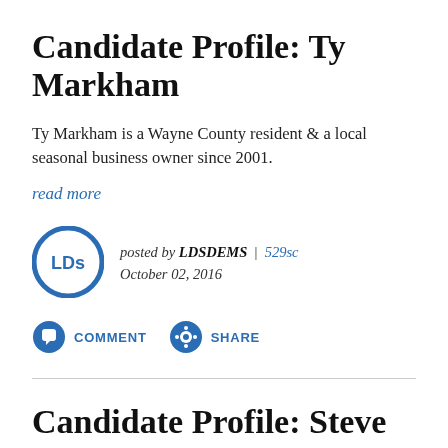Candidate Profile: Ty Markham
Ty Markham is a Wayne County resident & a local seasonal business owner since 2001.
read more
posted by LDSDEMS | 529sc
October 02, 2016
COMMENT   SHARE
Candidate Profile: Steve